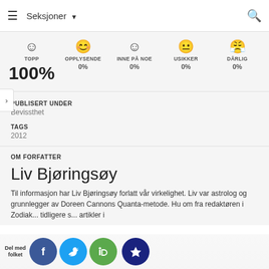Seksjoner
[Figure (infographic): Reader reaction ratings: TOPP 100%, OPPLYSENDE 0%, INNE PÅ NOE 0%, USIKKER 0%, DÅRLIG 0%]
PUBLISERT UNDER
Bevissthet
TAGS
2012
OM FORFATTER
Liv Bjøringsøy
Til informasjon har Liv Bjøringsøy forlatt vår virkelighet. Liv var astrolog og grunnlegger av Doreen Cannons Quanta-metode. Hu... om fra redaktøren i Zodiak... tidligere s... artikler i
Del med folket